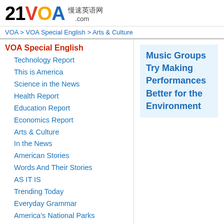21VOA 慢速英语网 .com
VOA > VOA Special English > Arts & Culture
VOA Special English
Technology Report
This is America
Science in the News
Health Report
Education Report
Economics Report
Arts & Culture
In the News
American Stories
Words And Their Stories
AS IT IS
Trending Today
Everyday Grammar
America's National Parks
America's Presidents
U.S. History
People in America
Agriculture Report
Music Groups Try Making Performances Better for the Environment